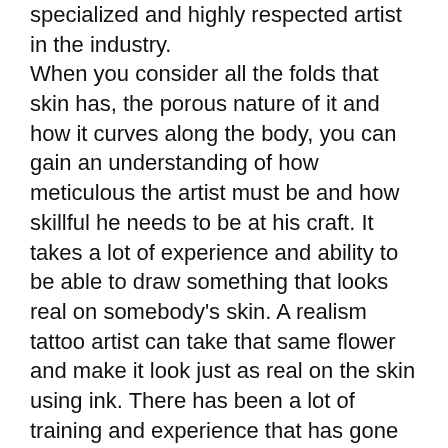specialized and highly respected artist in the industry. When you consider all the folds that skin has, the porous nature of it and how it curves along the body, you can gain an understanding of how meticulous the artist must be and how skillful he needs to be at his craft. It takes a lot of experience and ability to be able to draw something that looks real on somebody's skin. A realism tattoo artist can take that same flower and make it look just as real on the skin using ink. There has been a lot of training and experience that has gone into perfecting this level of skill so never settle for someone that is inexperienced to do the tattoo for you.
Types of Realism Tattoos
When you're looking for a realism tattoo Toronto you can choose from a colour realism tattoo or a black and grey tattoo. Black and